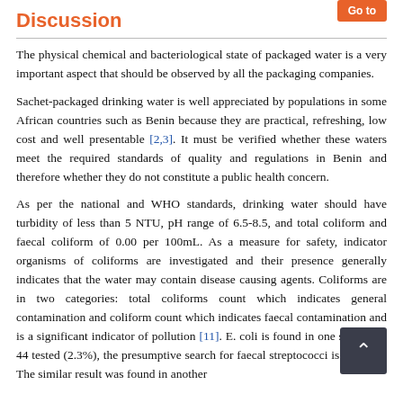Discussion
The physical chemical and bacteriological state of packaged water is a very important aspect that should be observed by all the packaging companies.
Sachet-packaged drinking water is well appreciated by populations in some African countries such as Benin because they are practical, refreshing, low cost and well presentable [2,3]. It must be verified whether these waters meet the required standards of quality and regulations in Benin and therefore whether they do not constitute a public health concern.
As per the national and WHO standards, drinking water should have turbidity of less than 5 NTU, pH range of 6.5-8.5, and total coliform and faecal coliform of 0.00 per 100mL. As a measure for safety, indicator organisms of coliforms are investigated and their presence generally indicates that the water may contain disease causing agents. Coliforms are in two categories: total coliforms count which indicates general contamination and coliform count which indicates faecal contamination and is a significant indicator of pollution [11]. E. coli is found in one sample of 44 tested (2.3%), the presumptive search for faecal streptococci is negative. The similar result was found in another